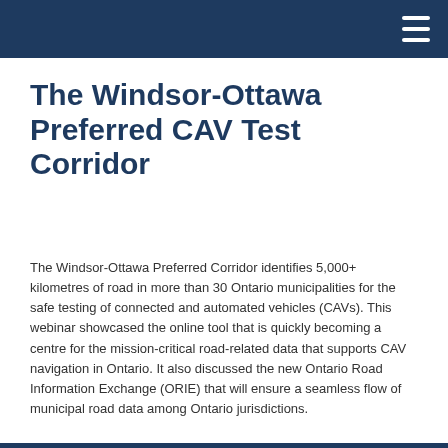The Windsor-Ottawa Preferred CAV Test Corridor
The Windsor-Ottawa Preferred Corridor identifies 5,000+ kilometres of road in more than 30 Ontario municipalities for the safe testing of connected and automated vehicles (CAVs). This webinar showcased the online tool that is quickly becoming a centre for the mission-critical road-related data that supports CAV navigation in Ontario. It also discussed the new Ontario Road Information Exchange (ORIE) that will ensure a seamless flow of municipal road data among Ontario jurisdictions.